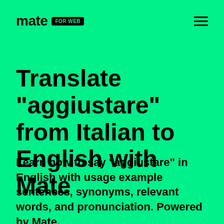mate FOR WEB
Translate "aggiustare" from Italian to English with Mate
Learn how to say "aggiustare" in English with usage example sentences, synonyms, relevant words, and pronunciation. Powered by Mate.